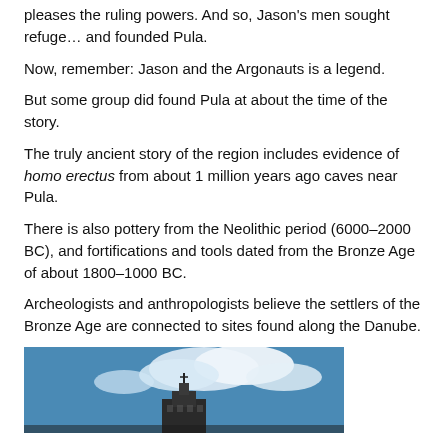pleases the ruling powers. And so, Jason's men sought refuge… and founded Pula.
Now, remember: Jason and the Argonauts is a legend.
But some group did found Pula at about the time of the story.
The truly ancient story of the region includes evidence of homo erectus from about 1 million years ago caves near Pula.
There is also pottery from the Neolithic period (6000–2000 BC), and fortifications and tools dated from the Bronze Age of about 1800–1000 BC.
Archeologists and anthropologists believe the settlers of the Bronze Age are connected to sites found along the Danube.
[Figure (photo): Photo of a building or tower seen from below against a blue sky with white clouds.]